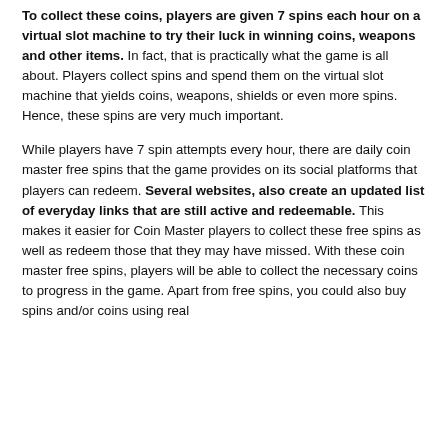To collect these coins, players are given 7 spins each hour on a virtual slot machine to try their luck in winning coins, weapons and other items. In fact, that is practically what the game is all about. Players collect spins and spend them on the virtual slot machine that yields coins, weapons, shields or even more spins. Hence, these spins are very much important.
While players have 7 spin attempts every hour, there are daily coin master free spins that the game provides on its social platforms that players can redeem. Several websites, also create an updated list of everyday links that are still active and redeemable. This makes it easier for Coin Master players to collect these free spins as well as redeem those that they may have missed. With these coin master free spins, players will be able to collect the necessary coins to progress in the game. Apart from free spins, you could also buy spins and/or coins using real